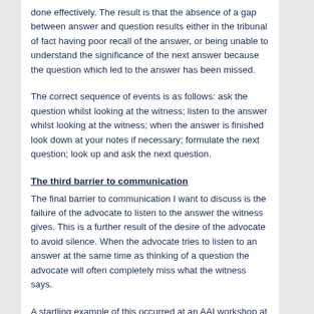done effectively. The result is that the absence of a gap between answer and question results either in the tribunal of fact having poor recall of the answer, or being unable to understand the significance of the next answer because the question which led to the answer has been missed.
The correct sequence of events is as follows: ask the question whilst looking at the witness; listen to the answer whilst looking at the witness; when the answer is finished look down at your notes if necessary; formulate the next question; look up and ask the next question.
The third barrier to communication
The final barrier to communication I want to discuss is the failure of the advocate to listen to the answer the witness gives. This is a further result of the desire of the advocate to avoid silence. When the advocate tries to listen to an answer at the same time as thinking of a question the advocate will often completely miss what the witness says.
A startling example of this occurred at an AAI workshop at